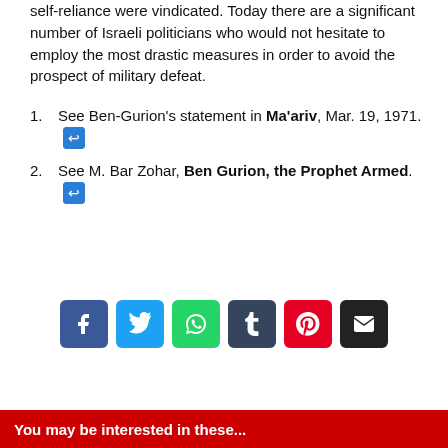self-reliance were vindicated. Today there are a significant number of Israeli politicians who would not hesitate to employ the most drastic measures in order to avoid the prospect of military defeat.
1. See Ben-Gurion's statement in Ma'ariv, Mar. 19, 1971. [link]
2. See M. Bar Zohar, Ben Gurion, the Prophet Armed. [link]
[Figure (infographic): Row of 6 social sharing buttons: Facebook (blue), Twitter (light blue), WhatsApp (green), Tumblr (dark blue), Pinterest (red), Email (black)]
You may be interested in these...